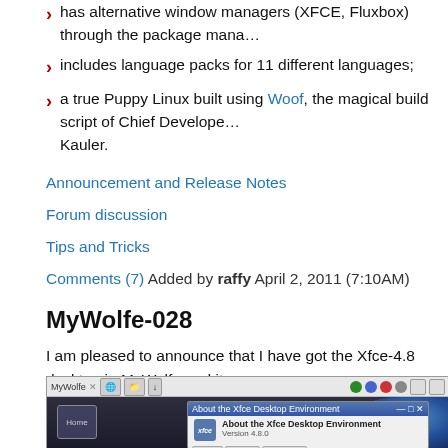has alternative window managers (XFCE, Fluxbox) through the package manager;
includes language packs for 11 different languages;
a true Puppy Linux built using Woof, the magical build script of Chief Developer Kauler.
Announcement and Release Notes
Forum discussion
Tips and Tricks
Comments (7) Added by raffy April 2, 2011 (7:10AM)
MyWolfe-028
I am pleased to announce that I have got the Xfce-4.8 desktop in MyWolfe and it and is now available for download MyWolfe-028.iso.
Here is a screen shot for you.
[Figure (screenshot): Screenshot of MyWolfe desktop showing the Xfce 4.8 Desktop Environment About dialog box with taskbar and earth background]